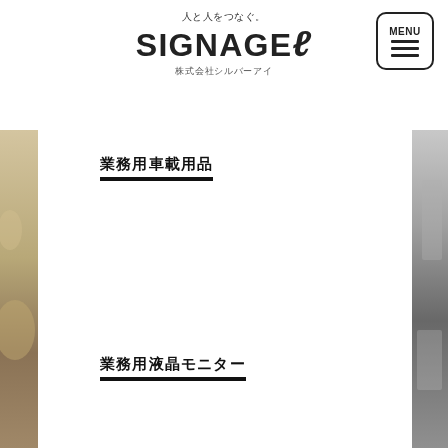[Figure (logo): SIGNAGE-e logo with tagline 人と人をつなぐ。 and company name 株式会社シルバーアイ]
[Figure (other): MENU button with three horizontal lines, rounded rectangle border]
[Figure (photo): Left side vertical photo strip showing warm-toned image]
[Figure (photo): Right side vertical photo strip showing cool-toned image]
業務用車載用品
業務用液晶モニター